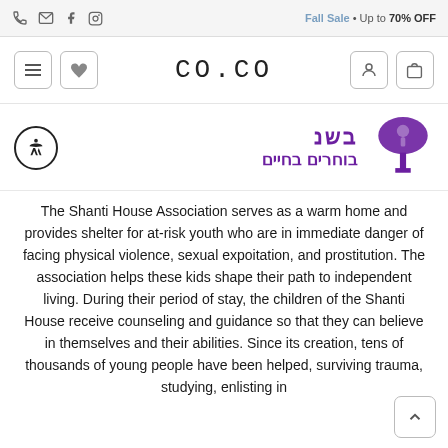Fall Sale • Up to 70% OFF
[Figure (logo): CO.CO website logo with navigation buttons (hamburger menu, heart, user, cart)]
[Figure (logo): Shanti House logo with Hebrew text and purple tree/umbrella icon. Hebrew text: בוחרים בחיים]
The Shanti House Association serves as a warm home and provides shelter for at-risk youth who are in immediate danger of facing physical violence, sexual expoitation, and prostitution. The association helps these kids shape their path to independent living. During their period of stay, the children of the Shanti House receive counseling and guidance so that they can believe in themselves and their abilities. Since its creation, tens of thousands of young people have been helped, surviving trauma, studying, enlisting in